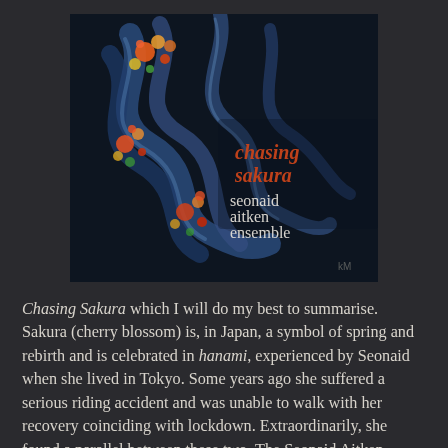[Figure (illustration): Album cover for 'Chasing Sakura' by Seonaid Aitken Ensemble. Dark background with colourful floral and ribbon elements. Text reads 'chasing sakura' in orange/copper and 'seonaid aitken ensemble' in white serif font.]
Chasing Sakura which I will do my best to summarise. Sakura (cherry blossom) is, in Japan, a symbol of spring and rebirth and is celebrated in hanami, experienced by Seonaid when she lived in Tokyo. Some years ago she suffered a serious riding accident and was unable to walk with her recovery coinciding with lockdown. Extraordinarily, she found a parallel between these two. The Seonaid Aitken Ensemble is an all-female sextet of musicians